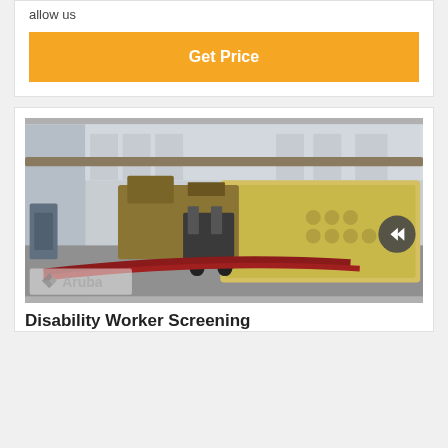allow us
Get Price
[Figure (photo): Industrial warehouse interior with heavy mining/screening equipment including a large yellow vibratory screen, forklifts, and crushers. Aruba logo watermark visible at bottom left.]
Disability Worker Screening